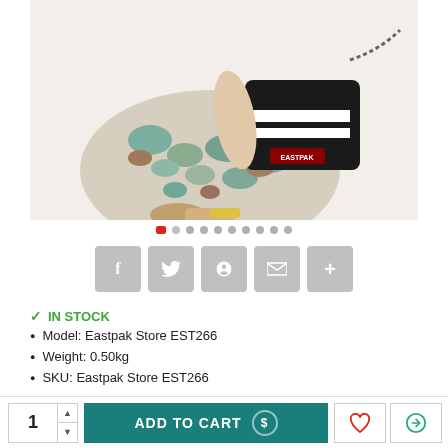[Figure (photo): Person crouching wearing a camouflage floral outfit holding a black Eastpak crossbody bag with two white stripes and a chain strap]
IN STOCK
Model: Eastpak Store EST266
Weight: 0.50kg
SKU: Eastpak Store EST266
£31.00